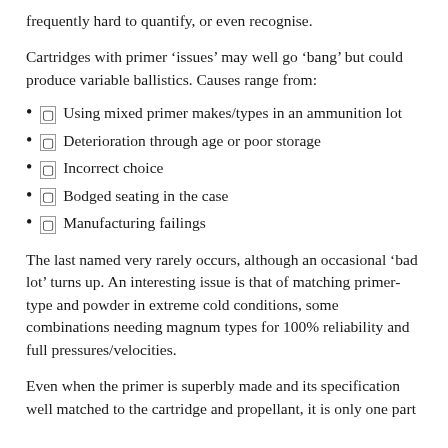frequently hard to quantify, or even recognise.
Cartridges with primer ‘issues’ may well go ‘bang’ but could produce variable ballistics. Causes range from:
▢ Using mixed primer makes/types in an ammunition lot
▢ Deterioration through age or poor storage
▢ Incorrect choice
▢ Bodged seating in the case
▢ Manufacturing failings
The last named very rarely occurs, although an occasional ‘bad lot’ turns up. An interesting issue is that of matching primer-type and powder in extreme cold conditions, some combinations needing magnum types for 100% reliability and full pressures/velocities.
Even when the primer is superbly made and its specification well matched to the cartridge and propellant, it is only one part